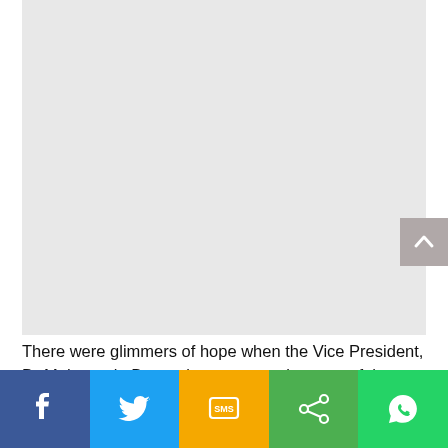[Figure (photo): Large light grey placeholder image area]
There were glimmers of hope when the Vice President, Dr Mahamudu Bawumia, announced as part of the NPP's
[Figure (infographic): Social share bar with Facebook, Twitter, SMS, Share, and WhatsApp buttons]